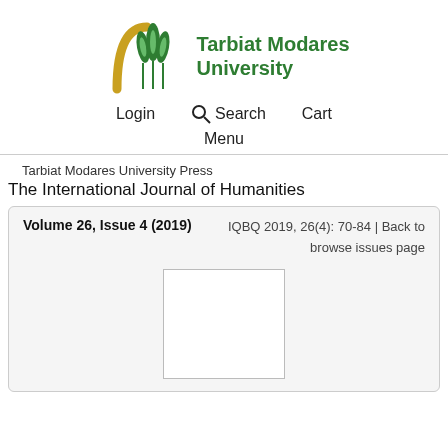[Figure (logo): Tarbiat Modares University logo with golden arch and green wheat/flame symbols, alongside green bold text 'Tarbiat Modares University']
Login  Search  Cart  Menu
Tarbiat Modares University Press
The International Journal of Humanities
Volume 26, Issue 4 (2019)   IQBQ 2019, 26(4): 70-84 | Back to browse issues page
[Figure (other): Blank white rectangle representing a journal cover image placeholder]